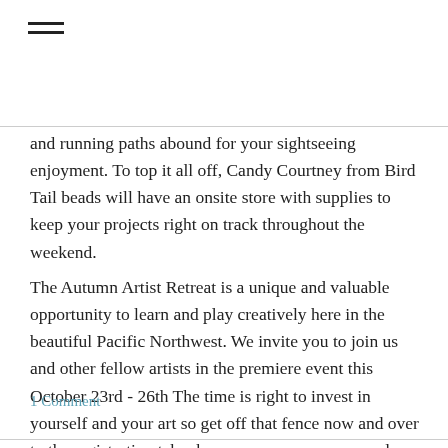≡ (hamburger menu icon)
and running paths abound for your sightseeing enjoyment.  To top it all off, Candy Courtney from Bird Tail beads will have an onsite store with supplies to keep your projects right on track throughout the weekend.
The Autumn Artist Retreat is a unique and valuable opportunity to learn and play creatively here in the beautiful Pacific Northwest.  We invite you to join us and other fellow artists in the premiere event this October 23rd - 26th  The time is right to invest in yourself and your art so get off that fence now and over to the registration tab where you can ensure your place in this year's Autumn Artist Retreat.  You will be glad that you did!
1 Comment